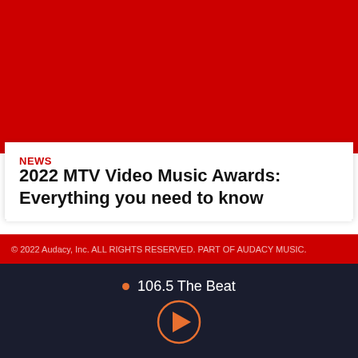[Figure (logo): 106.5 The Beat radio station logo — circular logo with red and white design]
LISTEN
NEWS
2022 MTV Video Music Awards: Everything you need to know
EEO
Public Inspection File
Contest Rules
FCC Applications
Advertise with Us
© 2022 Audacy, Inc. ALL RIGHTS RESERVED. PART OF AUDACY MUSIC.
106.5 The Beat